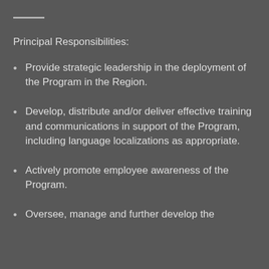Principal Responsibilities:
Provide strategic leadership in the deployment of the Program in the Region.
Develop, distribute and/or deliver effective training and communications in support of the Program, including language localizations as appropriate.
Actively promote employee awareness of the Program.
Oversee, manage and further develop the